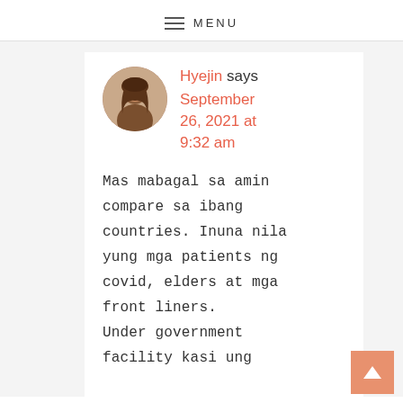≡ MENU
Hyejin says September 26, 2021 at 9:32 am
Mas mabagal sa amin compare sa ibang countries. Inuna nila yung mga patients ng covid, elders at mga front liners. Under government facility kasi ung